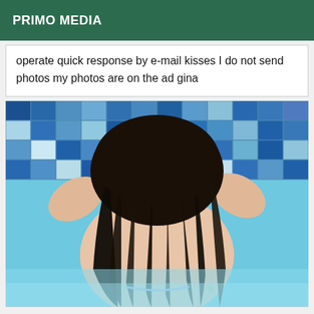PRIMO MEDIA
operate quick response by e-mail kisses I do not send photos my photos are on the ad gina
[Figure (photo): Person with long dark wet hair from behind, in a swimming pool with blue mosaic tiles, wearing a light blue bikini.]